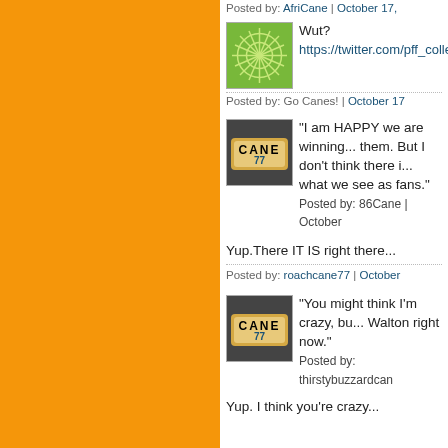Posted by: AfriCane | October 17,
[Figure (illustration): Green starburst/flower pattern avatar image]
Wut?
https://twitter.com/pff_college
Posted by: Go Canes! | October 17
[Figure (photo): Florida license plate reading CANE 77]
"I am HAPPY we are winning... them. But I don't think there i... what we see as fans."
Posted by: 86Cane | October
Yup.There IT IS right there...
Posted by: roachcane77 | October
[Figure (photo): Florida license plate reading CANE 77]
"You might think I'm crazy, bu... Walton right now."
Posted by: thirstybuzzardcan
Yup. I think you're crazy...